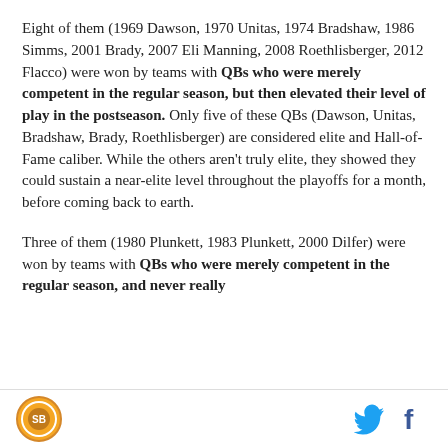Eight of them (1969 Dawson, 1970 Unitas, 1974 Bradshaw, 1986 Simms, 2001 Brady, 2007 Eli Manning, 2008 Roethlisberger, 2012 Flacco) were won by teams with QBs who were merely competent in the regular season, but then elevated their level of play in the postseason. Only five of these QBs (Dawson, Unitas, Bradshaw, Brady, Roethlisberger) are considered elite and Hall-of-Fame caliber. While the others aren't truly elite, they showed they could sustain a near-elite level throughout the playoffs for a month, before coming back to earth.
Three of them (1980 Plunkett, 1983 Plunkett, 2000 Dilfer) were won by teams with QBs who were merely competent in the regular season, and never really
[Figure (logo): Circular logo with orange/gold border, sports team emblem]